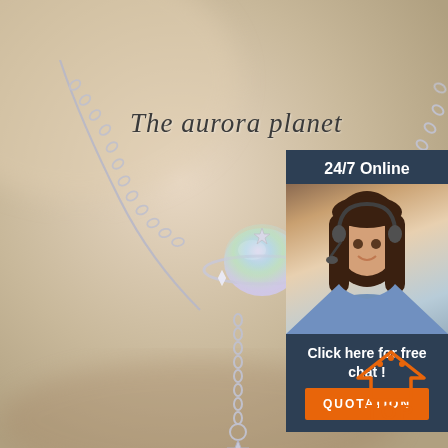[Figure (photo): Product photo of an aurora planet necklace with iridescent moonstone planet charm and silver chain on a beige blurred background]
The aurora planet
[Figure (photo): Customer service sidebar with dark blue background showing a smiling woman wearing a headset, with '24/7 Online' header, 'Click here for free chat!' text, and an orange QUOTATION button]
[Figure (logo): TOP logo with orange house/arrow icon above the word TOP in orange bold letters]